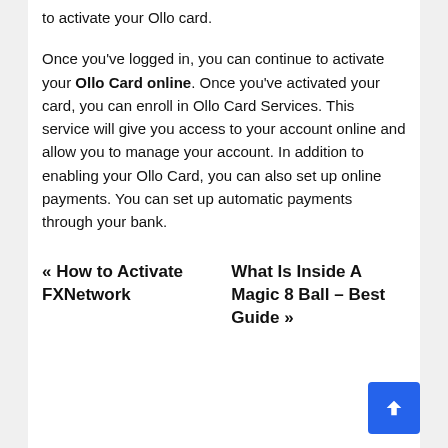to activate your Ollo card.
Once you've logged in, you can continue to activate your Ollo Card online. Once you've activated your card, you can enroll in Ollo Card Services. This service will give you access to your account online and allow you to manage your account. In addition to enabling your Ollo Card, you can also set up online payments. You can set up automatic payments through your bank.
« How to Activate FXNetwork
What Is Inside A Magic 8 Ball – Best Guide »